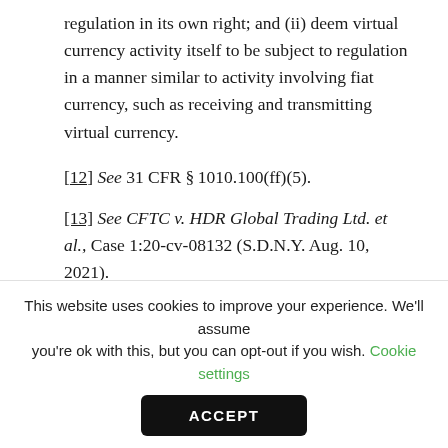regulation in its own right; and (ii) deem virtual currency activity itself to be subject to regulation in a manner similar to activity involving fiat currency, such as receiving and transmitting virtual currency.
[12] See 31 CFR §1010.100(ff)(5).
[13] See CFTC v. HDR Global Trading Ltd. et al., Case 1:20-cv-08132 (S.D.N.Y. Aug. 10, 2021).
[14] United States Office of Foreign Assets Control. Sanctions Compliance Guidance for the Virtual Currency. Available at https://home.treasury.gov/system/files/126/virtual_cur
This website uses cookies to improve your experience. We'll assume you're ok with this, but you can opt-out if you wish. Cookie settings
ACCEPT